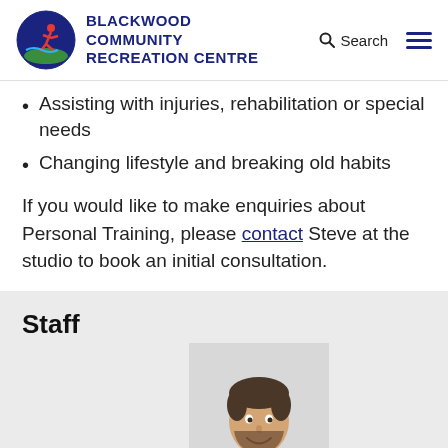BLACKWOOD COMMUNITY RECREATION CENTRE
Assisting with injuries, rehabilitation or special needs
Changing lifestyle and breaking old habits
If you would like to make enquiries about Personal Training, please contact Steve at the studio to book an initial consultation.
Staff
[Figure (photo): Smiling man with dark hair and beard wearing a red polo shirt, staff photo for Blackwood Community Recreation Centre]